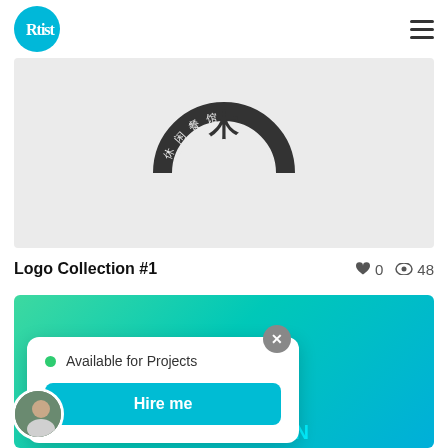Rtist (logo) | hamburger menu
[Figure (logo): Grey background with a circular Chinese restaurant logo showing a kanji character and text 休闲餐馆 arranged in a semicircle]
Logo Collection #1    ♥ 0   👁 48
[Figure (screenshot): Teal/green gradient portfolio card background with a popup overlay showing: green dot 'Available for Projects', 'Hire me' cyan button, close X button, and user avatar photo. Bottom text: COLLECTION]
Available for Projects
Hire me
COLLECTION